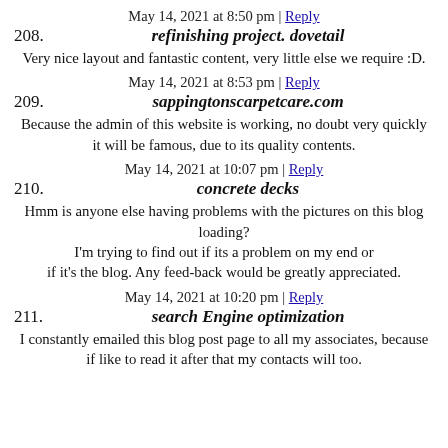May 14, 2021 at 8:50 pm | Reply
208. refinishing project. dovetail
Very nice layout and fantastic content, very little else we require :D.
May 14, 2021 at 8:53 pm | Reply
209. sappingtonscarpetcare.com
Because the admin of this website is working, no doubt very quickly it will be famous, due to its quality contents.
May 14, 2021 at 10:07 pm | Reply
210. concrete decks
Hmm is anyone else having problems with the pictures on this blog loading? I'm trying to find out if its a problem on my end or if it's the blog. Any feed-back would be greatly appreciated.
May 14, 2021 at 10:20 pm | Reply
211. search Engine optimization
I constantly emailed this blog post page to all my associates, because if like to read it after that my contacts will too.